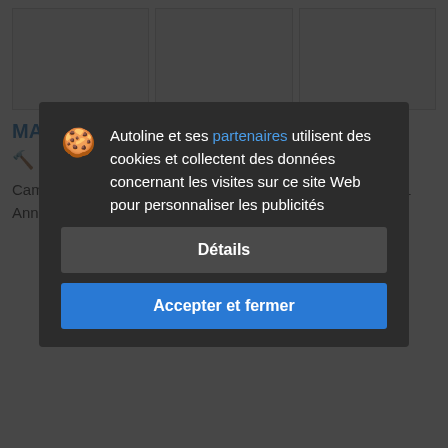[Figure (photo): Three placeholder image boxes for vehicle photos]
MAZ 551669
🔨 3 750 €
Camion-benne, Capacité de charge: 20700 kg  Euro: Euro 1
Année: 2007  Kilométrage: 605951 km
Autoline et ses partenaires utilisent des cookies et collectent des données concernant les visites sur ce site Web pour personnaliser les publicités
Détails
Accepter et fermer